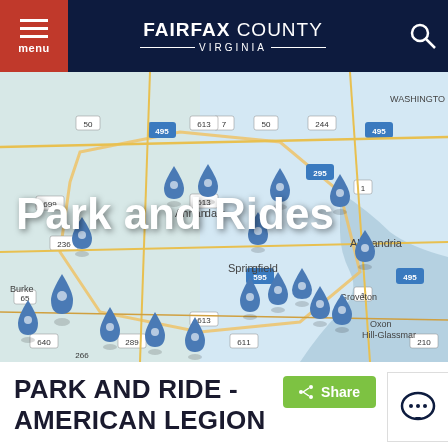FAIRFAX COUNTY VIRGINIA
[Figure (map): Map of Fairfax County Virginia showing Park and Ride locations marked with blue teardrop pins. The map shows areas including Annandale, Springfield, Alexandria, Burke, Groveton, and Oxon Hill-Glassman, with major roads including I-495, I-295, Routes 50, 613, 611, 640, 236, 65, 289, 699, 266.]
Park and Rides
< Share
PARK AND RIDE - AMERICAN LEGION